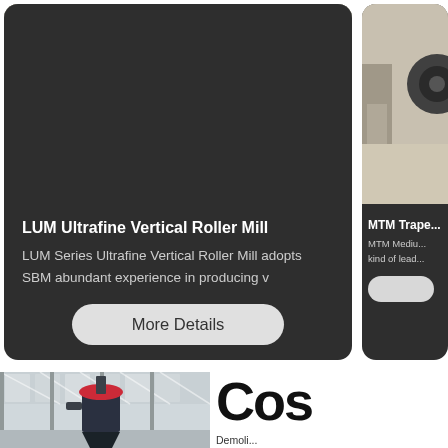[Figure (photo): Industrial interior photo showing an LUM Ultrafine Vertical Roller Mill machine with blue cylindrical body, dark frame, yellow hazard stripes on floor, red indicator on machine body]
LUM Ultrafine Vertical Roller Mill
LUM Series Ultrafine Vertical Roller Mill adopts SBM abundant experience in producing v
More Details
[Figure (photo): Partially visible second product card showing MTM Trape... mill with industrial equipment visible including a wheel/tire]
MTM Trape...
MTM Mediu... kind of lead...
[Figure (photo): Industrial warehouse interior with large grinding/milling machine (dark blue cylindrical body with red top cone) inside a steel-frame building with white roof panels]
Cos
Demoli... In Nove... further...